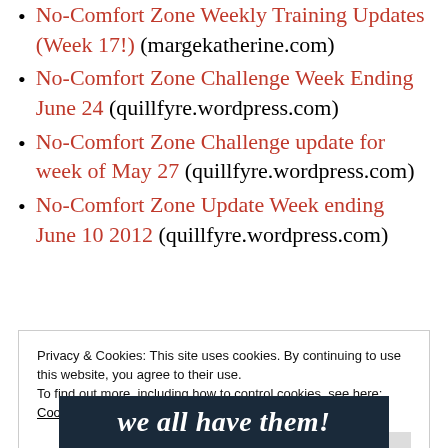No-Comfort Zone Weekly Training Updates (Week 17!) (margekatherine.com)
No-Comfort Zone Challenge Week Ending June 24 (quillfyre.wordpress.com)
No-Comfort Zone Challenge update for week of May 27 (quillfyre.wordpress.com)
No-Comfort Zone Update Week ending June 10 2012 (quillfyre.wordpress.com)
Privacy & Cookies: This site uses cookies. By continuing to use this website, you agree to their use. To find out more, including how to control cookies, see here: Cookie Policy
Close and accept
we all have them!